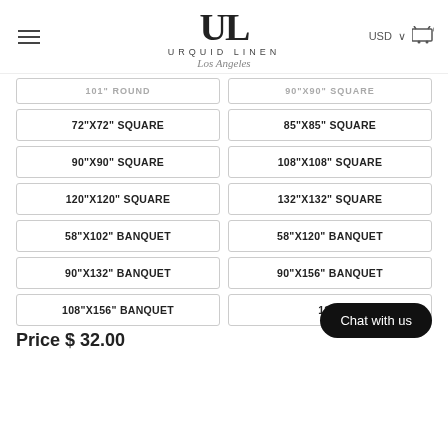URQUID LINEN Los Angeles
| 101" ROUND | 90"X90" SQUARE |
| 72"X72" SQUARE | 85"X85" SQUARE |
| 90"X90" SQUARE | 108"X108" SQUARE |
| 120"X120" SQUARE | 132"X132" SQUARE |
| 58"X102" BANQUET | 58"X120" BANQUET |
| 90"X132" BANQUET | 90"X156" BANQUET |
| 108"X156" BANQUET | 120"... |
Price $ 32.00